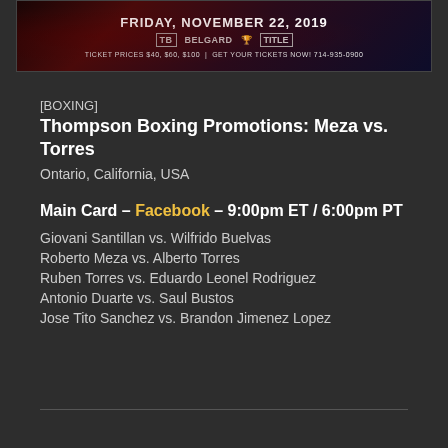[Figure (photo): Boxing event promotional banner for Friday, November 22, 2019. Shows boxing imagery with sponsors including Belgard. Text reads: TICKET PRICES $40, $60, $100 | GET YOUR TICKETS NOW! 714-935-0900]
[BOXING]
Thompson Boxing Promotions: Meza vs. Torres
Ontario, California, USA
Main Card – Facebook – 9:00pm ET / 6:00pm PT
Giovani Santillan vs. Wilfrido Buelvas
Roberto Meza vs. Alberto Torres
Ruben Torres vs. Eduardo Leonel Rodriguez
Antonio Duarte vs. Saul Bustos
Jose Tito Sanchez vs. Brandon Jimenez Lopez